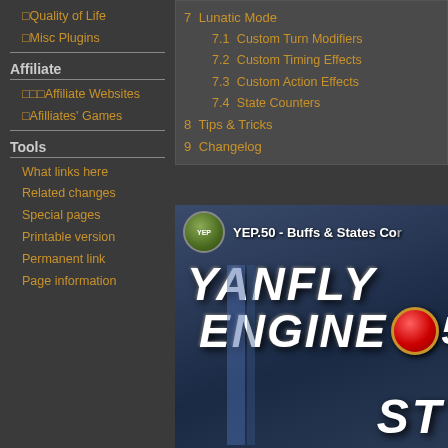🔲Quality of Life
🔲Misc Plugins
Affiliate
🔲🔲🔲Affiliate Websites
🔲Afilliates' Games
Tools
What links here
Related changes
Special pages
Printable version
Permanent link
Page information
7 Lunatic Mode
7.1 Custom Turn Modifiers
7.2 Custom Timing Effects
7.3 Custom Action Effects
7.4 State Counters
8 Tips & Tricks
9 Changelog
[Figure (screenshot): YEP.50 - Buffs & States Core video thumbnail showing YANFLY ENGINE text with logo and red gem, partial ST text at bottom right]